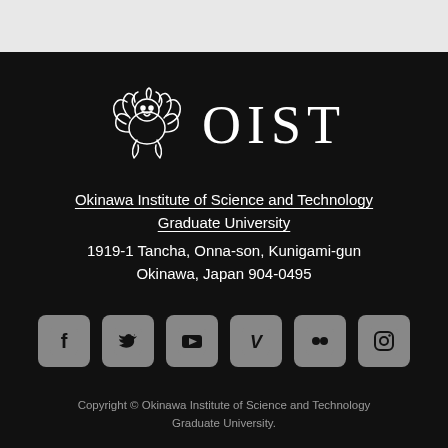[Figure (logo): OIST logo with stylized shisa/lion creature icon in white and OIST text in white serif font on black background]
Okinawa Institute of Science and Technology Graduate University
1919-1 Tancha, Onna-son, Kunigami-gun Okinawa, Japan 904-0495
[Figure (other): Row of six social media icons: Facebook, Twitter, YouTube, Vimeo, Flickr, Instagram — all in gray rounded square buttons on black background]
Copyright © Okinawa Institute of Science and Technology Graduate University.